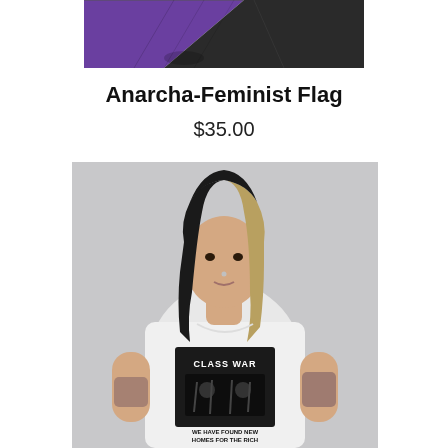[Figure (photo): Partial view of an anarcha-feminist flag with purple and black diagonal sections, cropped at top of page.]
Anarcha-Feminist Flag
$35.00
[Figure (photo): Woman with long dark hair and nose piercing wearing a white t-shirt with a black graphic reading 'CLASS WAR' and text 'WE HAVE FOUND NEW HOMES FOR THE RICH'. She has visible tattoos on both arms. Photo taken against a grey background.]